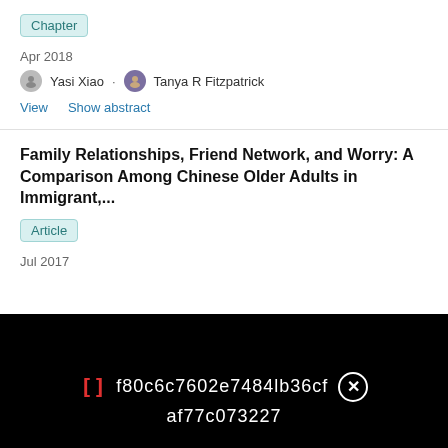Chapter
Apr 2018
Yasi Xiao · Tanya R Fitzpatrick
View   Show abstract
Family Relationships, Friend Network, and Worry: A Comparison Among Chinese Older Adults in Immigrant,...
Article
Jul 2017
f80c6c7602e7484lb36cf af77c073227
ResearchGate
Are you recruiting experts in medicine?